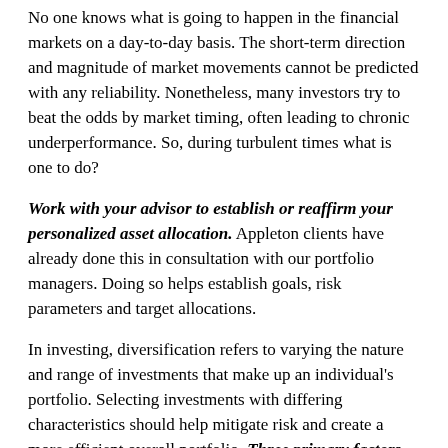No one knows what is going to happen in the financial markets on a day-to-day basis. The short-term direction and magnitude of market movements cannot be predicted with any reliability. Nonetheless, many investors try to beat the odds by market timing, often leading to chronic underperformance. So, during turbulent times what is one to do?
Work with your advisor to establish or reaffirm your personalized asset allocation. Appleton clients have already done this in consultation with our portfolio managers. Doing so helps establish goals, risk parameters and target allocations.
In investing, diversification refers to varying the nature and range of investments that make up an individual's portfolio. Selecting investments with differing characteristics should help mitigate risk and create a more efficient overall portfolio. Three primary factors help us develop a personalized asset allocation strategy for clients:
1) Risk tolerance: your willingness and ability to tolerate the potential for loss